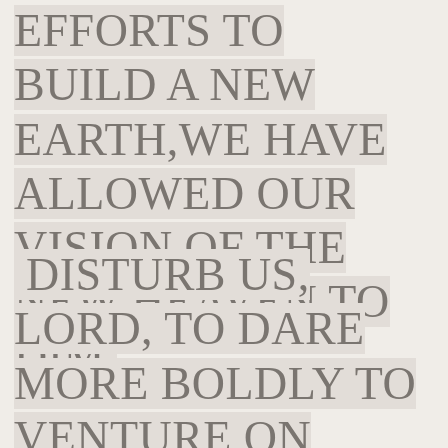EFFORTS TO BUILD A NEW EARTH,WE HAVE ALLOWED OUR VISION OF THE NEW HEAVEN TO DIM.
DISTURB US, LORD, TO DARE MORE BOLDLY TO VENTURE ON WILDER SEAS WHERE STORMS WILL SHOW YOUR MASTERY;WHERE LOSING SIGHT OF LAND,WE SHALL